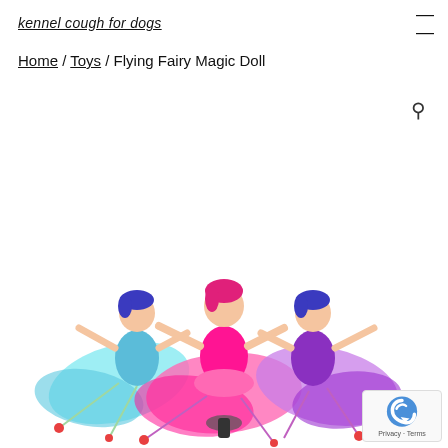kennel cough for dogs
Home / Toys / Flying Fairy Magic Doll
[Figure (photo): Three Flying Fairy Magic Dolls with colorful translucent wings — one blue/teal, one pink/hot-pink, and one purple — each doll has a fairy figure on top with blue or pink hair, posed with arms outstretched.]